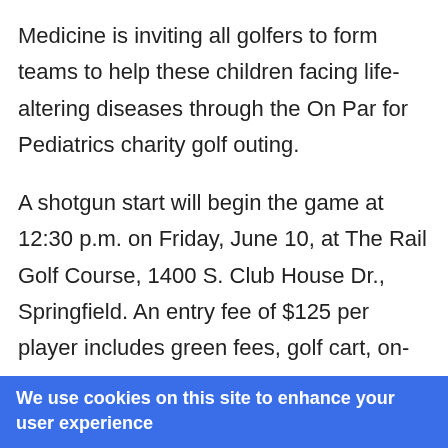Medicine is inviting all golfers to form teams to help these children facing life-altering diseases through the On Par for Pediatrics charity golf outing.
A shotgun start will begin the game at 12:30 p.m. on Friday, June 10, at The Rail Golf Course, 1400 S. Club House Dr., Springfield. An entry fee of $125 per player includes green fees, golf cart, on-course beverages, games and prizes, and a Twyford BBQ dinner.
We use cookies on this site to enhance your user experience